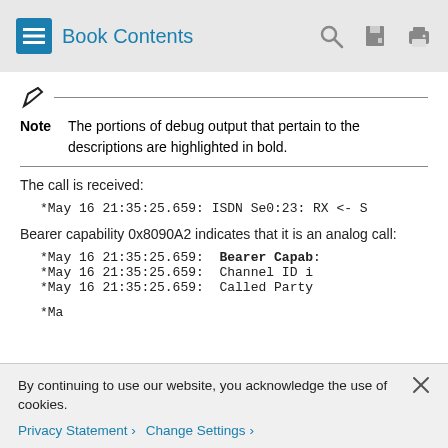Book Contents
Note  The portions of debug output that pertain to the descriptions are highlighted in bold.
The call is received:
*May 16 21:35:25.659: ISDN Se0:23: RX <- S
Bearer capability 0x8090A2 indicates that it is an analog call:
*May 16 21:35:25.659:  Bearer Capab:
*May 16 21:35:25.659:  Channel ID i
*May 16 21:35:25.659:  Called Party
By continuing to use our website, you acknowledge the use of cookies.
Privacy Statement > Change Settings >